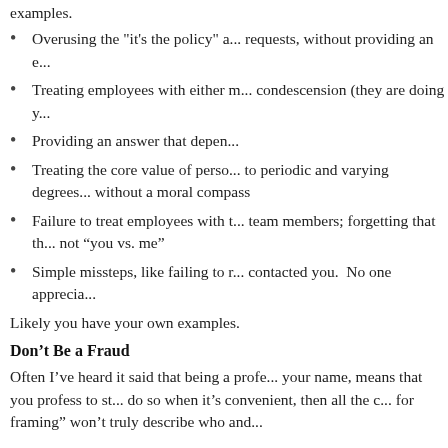examples.
Overusing the "it's the policy" a... requests, without providing an e...
Treating employees with either m... condescension (they are doing y...
Providing an answer that depen...
Treating the core value of perso... to periodic and varying degrees ... without a moral compass
Failure to treat employees with t... team members; forgetting that th... not “you vs. me”
Simple missteps, like failing to r... contacted you.  No one apprecia...
Likely you have your own examples.
Don’t Be a Fraud
Often I’ve heard it said that being a profe... your name, means that you profess to st... do so when it’s convenient, then all the c... for framing” won’t truly describe who and...